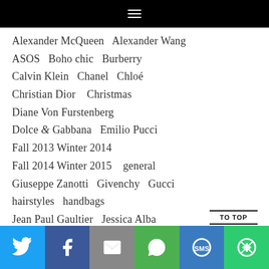≡
Alexander McQueen
Alexander Wang
ASOS
Boho chic
Burberry
Calvin Klein
Chanel
Chloé
Christian Dior
Christmas
Diane Von Furstenberg
Dolce & Gabbana
Emilio Pucci
Fall 2013 Winter 2014
Fall 2014 Winter 2015
general
Giuseppe Zanotti
Givenchy
Gucci
hairstyles
handbags
Jean Paul Gaultier
Jessica Alba
jewellery
Kate Spade
Kim Kardashian
Louis Vuitton
Love
Marc Jacobs
menswear
TO TOP